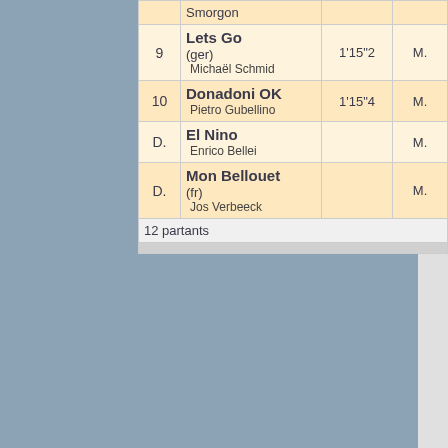[Figure (other): Blue-gray colored left panel background]
| # | Horse/Jockey | Time | Extra |
| --- | --- | --- | --- |
|  | Smorgon |  |  |
| 9 | Lets Go
(ger)
Michaël Schmid | 1'15"2 | M. |
| 10 | Donadoni OK
Pietro Gubellino | 1'15"4 | M. |
| D. | El Nino
Enrico Bellei |  | M. |
| D. | Mon Bellouet
(fr)
Jos Verbeeck |  | M. |
| 12 partants |  |  |  |